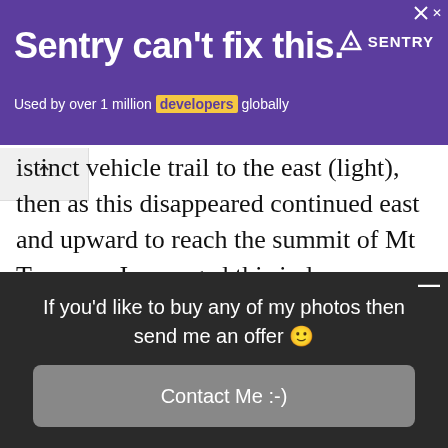[Figure (screenshot): Purple advertisement banner for Sentry. Text reads: 'Sentry can't fix this. Used by over 1 million developers globally' with Sentry logo and close button.]
istinct vehicle trail to the east (light), then as this disappeared continued east and upward to reach the summit of Mt Twynam. I managed this in low visibility so it's not too hard, but you'll benefit from a compass in these conditions. I was lucky to meet two runners coming down the indistinct trail, otherwise I would have just continued merrily on the main fire trail. (In good visibility you can see the
If you'd like to buy any of my photos then send me an offer 🙂
Contact Me :-)